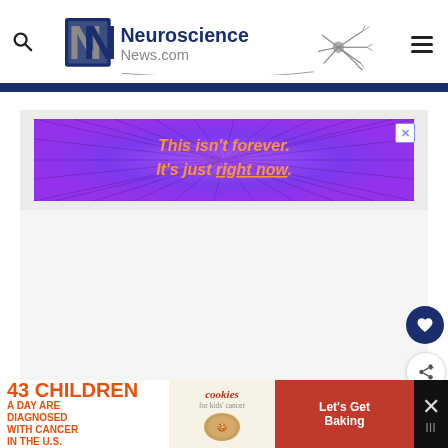Neuroscience News.com
[Figure (screenshot): Advertisement banner with purple starburst background reading 'This isn't forever. It's just right now.' with orange italic text]
[Figure (screenshot): Bottom advertisement banner for '43 Children A Day Are Diagnosed With Cancer in the U.S.' with cookies for kids cancer and 'Let's Get Baking' call to action]